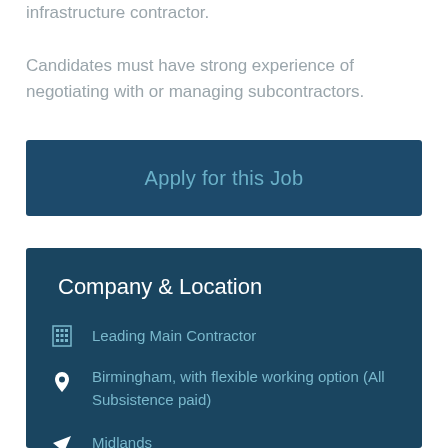infrastructure contractor.

Candidates must have strong experience of negotiating with or managing subcontractors.
Apply for this Job
Company & Location
Leading Main Contractor
Birmingham, with flexible working option (All Subsistence paid)
Midlands